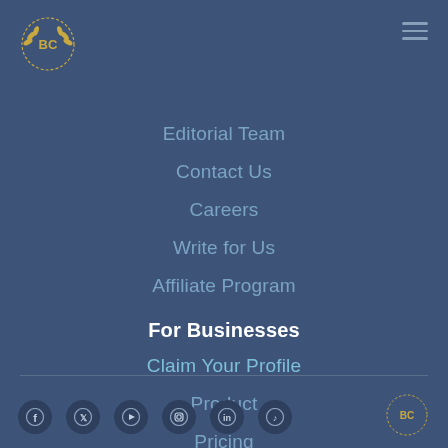[Figure (logo): BC laurel wreath logo, gold/yellow, top left]
[Figure (other): Hamburger menu icon (three horizontal lines), top right]
Editorial Team
Contact Us
Careers
Write for Us
Affiliate Program
For Businesses
Claim Your Profile
Product
Pricing
[Figure (other): Social media icons row: Facebook, Twitter, YouTube, Instagram, LinkedIn, TikTok]
[Figure (logo): BC laurel wreath logo, gold/yellow, bottom right, partial]